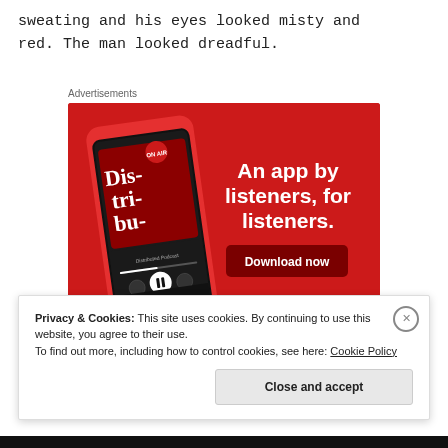sweating and his eyes looked misty and red. The man looked dreadful.
Advertisements
[Figure (other): Advertisement banner for a podcast app. Red background with a smartphone displaying a podcast app interface showing 'Dis-tri-bu-ted' podcast. Text reads: 'An app by listeners, for listeners.' with a 'Download now' button.]
Privacy & Cookies: This site uses cookies. By continuing to use this website, you agree to their use.
To find out more, including how to control cookies, see here: Cookie Policy
Close and accept